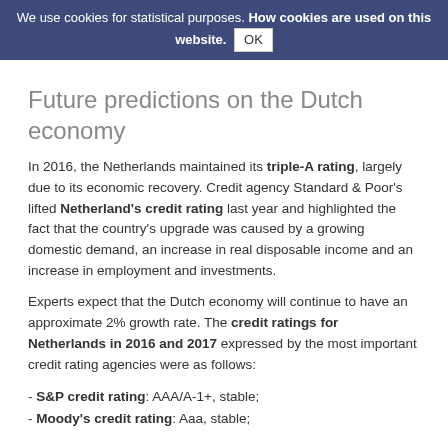We use cookies for statistical purposes. How cookies are used on this website. OK
Future predictions on the Dutch economy
In 2016, the Netherlands maintained its triple-A rating, largely due to its economic recovery. Credit agency Standard & Poor's lifted Netherland's credit rating last year and highlighted the fact that the country's upgrade was caused by a growing domestic demand, an increase in real disposable income and an increase in employment and investments.
Experts expect that the Dutch economy will continue to have an approximate 2% growth rate. The credit ratings for Netherlands in 2016 and 2017 expressed by the most important credit rating agencies were as follows:
- S&P credit rating: AAA/A-1+, stable;
- Moody's credit rating: Aaa, stable;